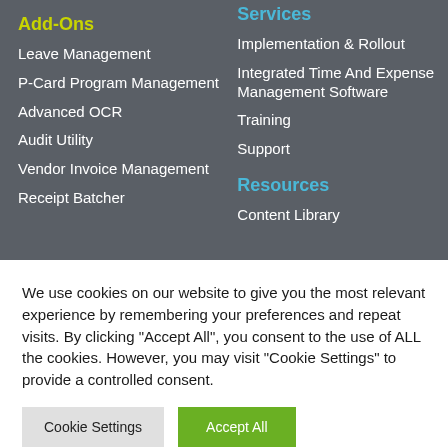Services
Add-Ons
Leave Management
P-Card Program Management
Advanced OCR
Audit Utility
Vendor Invoice Management
Receipt Batcher
Implementation & Rollout
Integrated Time And Expense Management Software
Training
Support
Resources
Content Library
We use cookies on our website to give you the most relevant experience by remembering your preferences and repeat visits. By clicking "Accept All", you consent to the use of ALL the cookies. However, you may visit "Cookie Settings" to provide a controlled consent.
Cookie Settings
Accept All